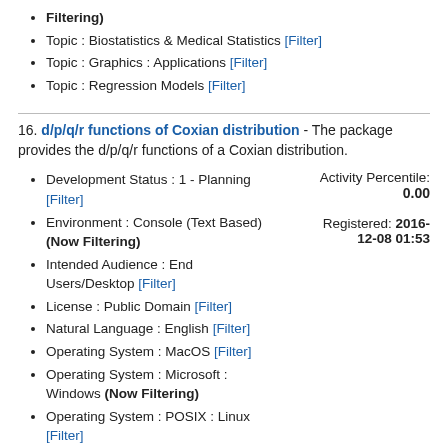Filtering)
Topic : Biostatistics & Medical Statistics [Filter]
Topic : Graphics : Applications [Filter]
Topic : Regression Models [Filter]
16. d/p/q/r functions of Coxian distribution - The package provides the d/p/q/r functions of a Coxian distribution.
Activity Percentile: 0.00
Registered: 2016-12-08 01:53
Development Status : 1 - Planning [Filter]
Environment : Console (Text Based) (Now Filtering)
Intended Audience : End Users/Desktop [Filter]
License : Public Domain [Filter]
Natural Language : English [Filter]
Operating System : MacOS [Filter]
Operating System : Microsoft : Windows (Now Filtering)
Operating System : POSIX : Linux [Filter]
Programming Language : R (Now Filtering)
Topic : High Performance Computing [Filter]
Topic : Multivariate Statistics :